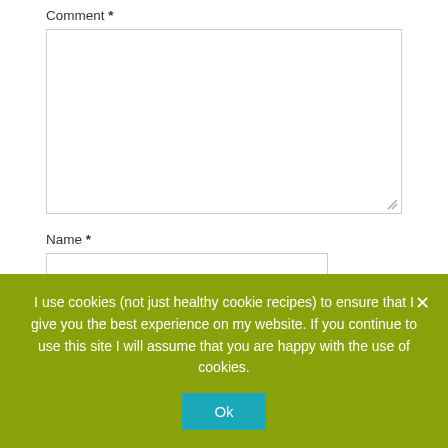Comment *
Name *
Email *
I use cookies (not just healthy cookie recipes) to ensure that I give you the best experience on my website. If you continue to use this site I will assume that you are happy with the use of cookies.
Ok